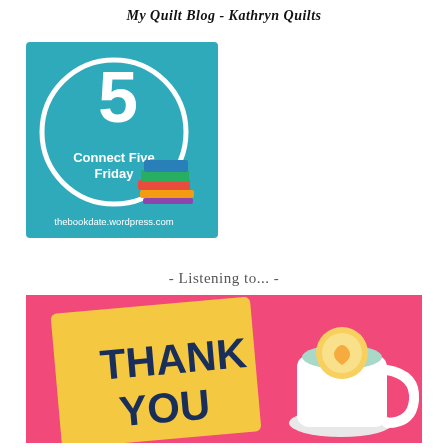My Quilt Blog - Kathryn Quilts
[Figure (logo): Connect Five Friday badge with large number 5 in a white circle on teal background, stack of colorful books, text 'Connect Five Friday' and 'thebookdate.wordpress.com']
- Listening to... -
[Figure (illustration): Colorful illustration on pink background showing a yellow 'THANK YOU' card/book and a teal teacup with a lemon heart slice on top]